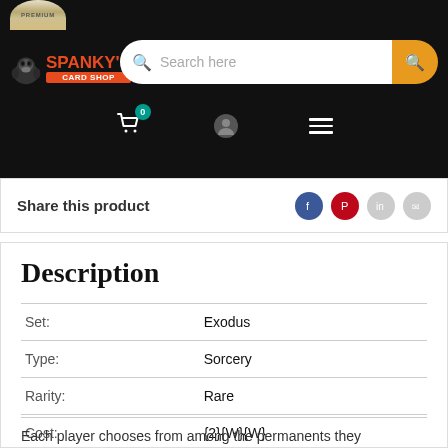[Figure (screenshot): Spanky's Card Shop website navigation bar with search field, cart icon (0 items), user icon, and hamburger menu.]
Share this product
Description
| Field | Value |
| --- | --- |
| Set: | Exodus |
| Type: | Sorcery |
| Rarity: | Rare |
| Cost: | {2}{W}{W} |
Each player chooses from among the permanents they control a life total, a number of cards in hand, and a number of mana...